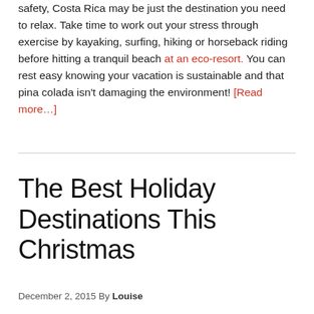safety, Costa Rica may be just the destination you need to relax. Take time to work out your stress through exercise by kayaking, surfing, hiking or horseback riding before hitting a tranquil beach at an eco-resort. You can rest easy knowing your vacation is sustainable and that pina colada isn't damaging the environment! [Read more…]
The Best Holiday Destinations This Christmas
December 2, 2015 By Louise